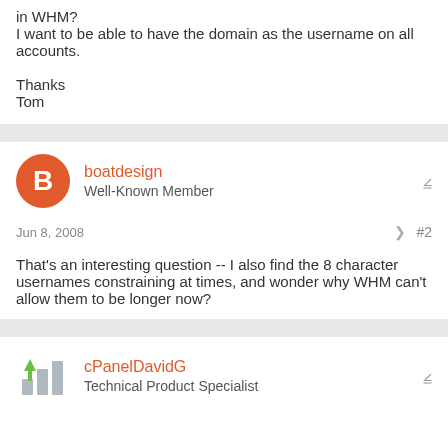in WHM?
I want to be able to have the domain as the username on all accounts.

Thanks
Tom
boatdesign
Well-Known Member
Jun 8, 2008   #2
That's an interesting question -- I also find the 8 character usernames constraining at times, and wonder why WHM can't allow them to be longer now?
cPanelDavidG
Technical Product Specialist